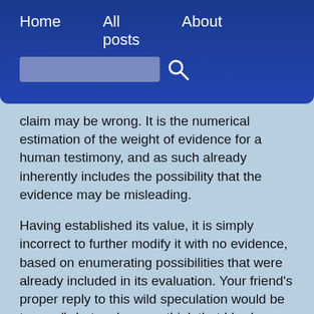Home   All posts   About
claim may be wrong. It is the numerical estimation of the weight of evidence for a human testimony, and as such already inherently includes the possibility that the evidence may be misleading.
Having established its value, it is simply incorrect to further modify it with no evidence, based on enumerating possibilities that were already included in its evaluation. Your friend's proper reply to this wild speculation would be to say, "what makes you think that I had visited a hypnotist or had a nightmare? Of course, anyone might be wrong about anything in any number of ways - but my friends already know how much trust to put in my testimony. How does a list of ways that I might be